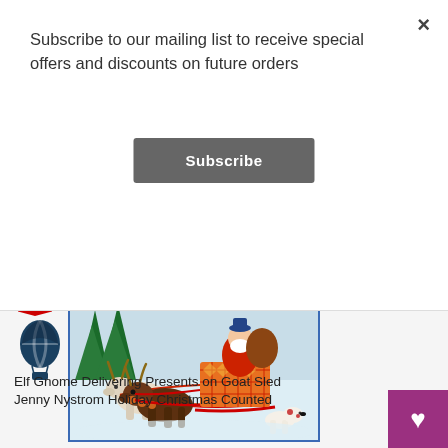Subscribe to our mailing list to receive special offers and discounts on future orders
Subscribe
[Figure (illustration): Christmas holiday illustration showing an elf/gnome Santa Claus figure riding a sleigh pulled by two goats through a snowy scene with evergreen trees. A small dog runs alongside. The sleigh is decorated with orange and red diamond pattern. The figure wears a red coat and has a white beard, with a basket of presents.]
[Figure (logo): Hot air balloon icon in dark teal/navy color, a simple stylized balloon shape with vertical stripes and a small basket below.]
Elf Gnome Delivering Presents on Goat Sled
Jenny Nystrom Holiday Christmas Counted